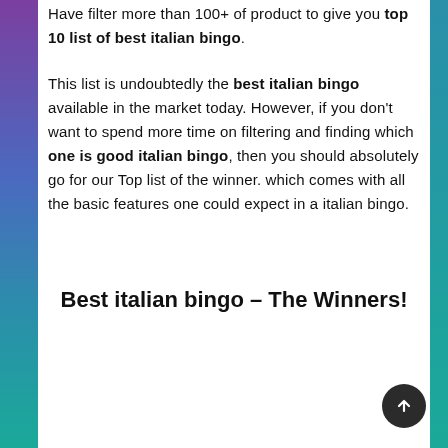Have filter more than 100+ of product to give you top 10 list of best italian bingo.
This list is undoubtedly the best italian bingo available in the market today. However, if you don't want to spend more time on filtering and finding which one is good italian bingo, then you should absolutely go for our Top list of the winner. which comes with all the basic features one could expect in a italian bingo.
Best italian bingo – The Winners!